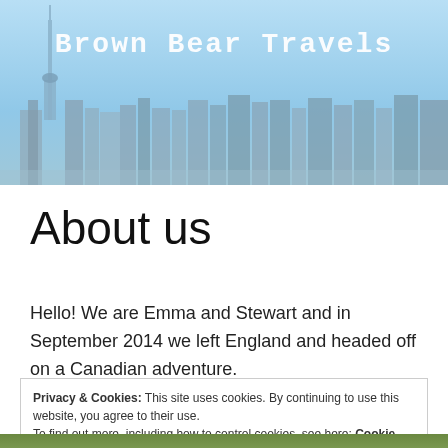[Figure (photo): Toronto skyline banner with blue sky background and 'Brown Bear Travels' text overlay]
About us
Hello! We are Emma and Stewart and in September 2014 we left England and headed off on a Canadian adventure.
Privacy & Cookies: This site uses cookies. By continuing to use this website, you agree to their use.
To find out more, including how to control cookies, see here: Cookie Policy
Close and accept
[Figure (photo): Bottom portion of a photograph showing two people, partially visible]